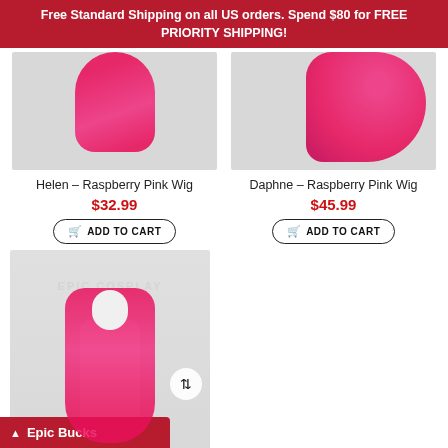Free Standard Shipping on all US orders. Spend $80 for FREE PRIORITY SHIPPING!
[Figure (photo): Helen - Raspberry Pink Wig product photo showing a pink/hot pink wig on a mannequin head]
[Figure (photo): Daphne - Raspberry Pink Wig product photo showing a curly raspberry pink wig]
Helen – Raspberry Pink Wig
$32.99
ADD TO CART
Daphne – Raspberry Pink Wig
$45.99
ADD TO CART
[Figure (photo): Long straight raspberry pink wig on a white mannequin, displayed full length, with Epic Cosplay watermark]
Epic Bucks